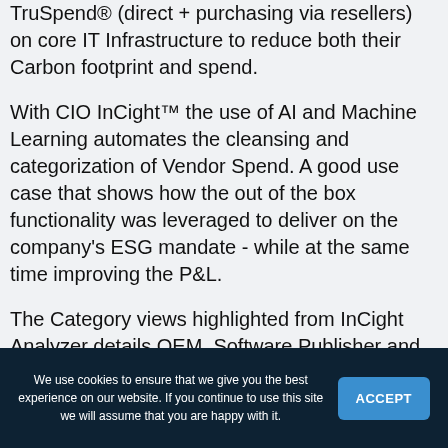TruSpend® (direct + purchasing via resellers) on core IT Infrastructure to reduce both their Carbon footprint and spend.
With CIO InCight™ the use of AI and Machine Learning automates the cleansing and categorization of Vendor Spend. A good use case that shows how the out of the box functionality was leveraged to deliver on the company's ESG mandate - while at the same time improving the P&L.
The Category views highlighted from InCight Analyzer details OEM, Software Publisher and Service Provider spend on Compute, Storage and Data Center. It represented a significant spend not only with the
We use cookies to ensure that we give you the best experience on our website. If you continue to use this site we will assume that you are happy with it.